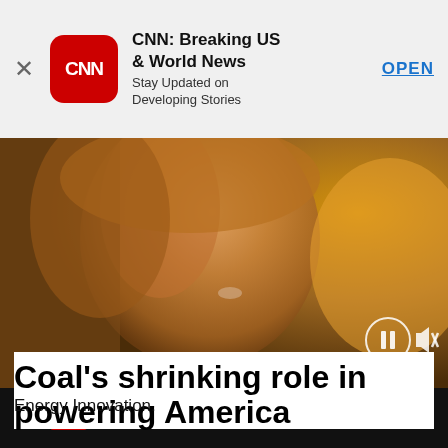[Figure (screenshot): CNN app advertisement banner with CNN logo, title 'CNN: Breaking US & World News', subtitle 'Stay Updated on Developing Stories', and an OPEN button]
[Figure (photo): Video player showing a close-up of a person's face with warm golden tones, with pause and mute controls visible in bottom right]
[Figure (screenshot): CNN Business navigation bar with hamburger menu, CNN logo in red box, BUSINESS text in white, and green triangle, with Ad Feedback button]
Energy Innovation.
Coal's shrinking role in powering America